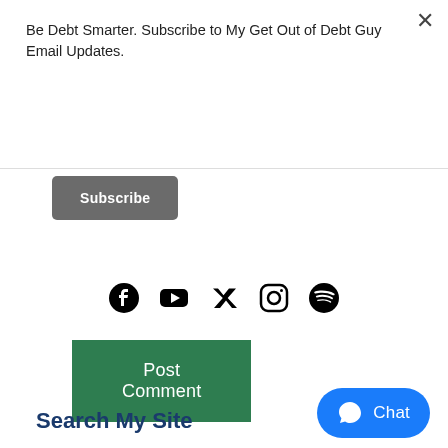Be Debt Smarter. Subscribe to My Get Out of Debt Guy Email Updates.
Subscribe
Post Comment
[Figure (infographic): Social media icons row: Facebook, YouTube, Twitter, Instagram, Spotify]
Search My Site
Chat